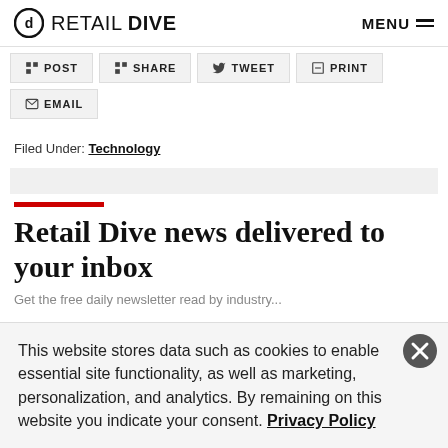RETAIL DIVE | MENU
POST
SHARE
TWEET
PRINT
EMAIL
Filed Under: Technology
Retail Dive news delivered to your inbox
This website stores data such as cookies to enable essential site functionality, as well as marketing, personalization, and analytics. By remaining on this website you indicate your consent. Privacy Policy